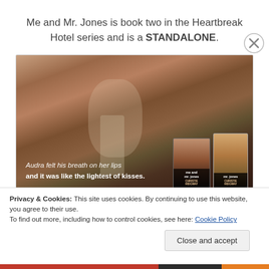Me and Mr. Jones is book two in the Heartbreak Hotel series and is a STANDALONE.
[Figure (photo): Romantic book promotional image showing a couple in an intimate scene with text overlay 'Audra felt his breath on her lips and it was like the lightest of kisses.' and book covers of 'Me and Mr. Jones' by Christie Ridgway shown in ebook and print formats in the bottom right corner.]
Privacy & Cookies: This site uses cookies. By continuing to use this website, you agree to their use.
To find out more, including how to control cookies, see here: Cookie Policy